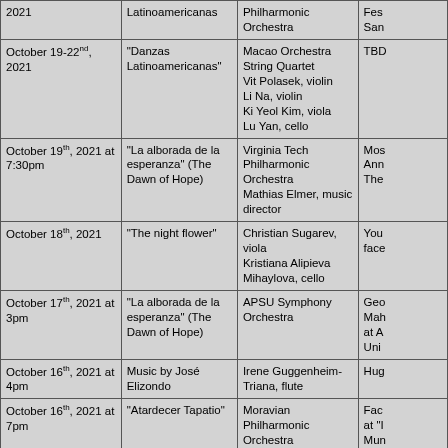| Date | Piece | Performer | Venue/Info |
| --- | --- | --- | --- |
| 2021 | Latinoamericanas | Philharmonic Orchestra | Fes San |
| October 19-22nd, 2021 | "Danzas Latinoamericanas" | Macao Orchestra String Quartet
Vit Polasek, violin
Li Na, violin
Ki Yeol Kim, viola
Lu Yan, cello | TBD |
| October 19th, 2021 at 7:30pm | "La alborada de la esperanza" (The Dawn of Hope) | Virginia Tech Philharmonic Orchestra
Mathias Elmer, music director | Mos Ann The |
| October 18th, 2021 | "The night flower" | Christian Sugarev, viola
Kristiana Alipieva Mihaylova, cello | You face |
| October 17th, 2021 at 3pm | "La alborada de la esperanza" (The Dawn of Hope) | APSU Symphony Orchestra | Geo Mah at A Uni |
| October 16th, 2021 at 4pm | Music by José Elizondo | Irene Guggenheim-Triana, flute | Hug |
| October 16th, 2021 at 7pm | "Atardecer Tapatio" | Moravian Philharmonic Orchestra
Petr Vronsky, director | Fac at "I Mun |
| October 15th, 2021 | "Estampas Mexicanas" | Franklin & Marshall College Orchestra
Dr. Brian Norcross, conductor | Fra Col |
| October 15th, 2021 at 6pm | "Crepúsculos" | Duo Manik'
Gerardo Aponte Cupido, viola | Cas Jua |